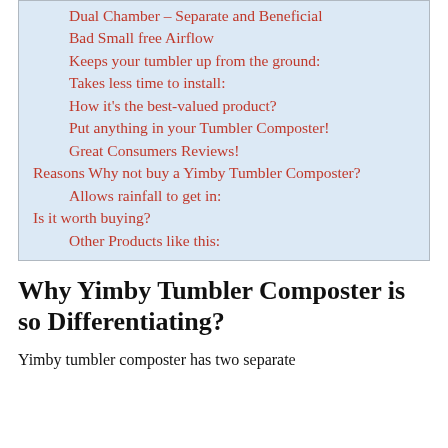Dual Chamber – Separate and Beneficial
Bad Small free Airflow
Keeps your tumbler up from the ground:
Takes less time to install:
How it's the best-valued product?
Put anything in your Tumbler Composter!
Great Consumers Reviews!
Reasons Why not buy a Yimby Tumbler Composter?
Allows rainfall to get in:
Is it worth buying?
Other Products like this:
Why Yimby Tumbler Composter is so Differentiating?
Yimby tumbler composter has two separate